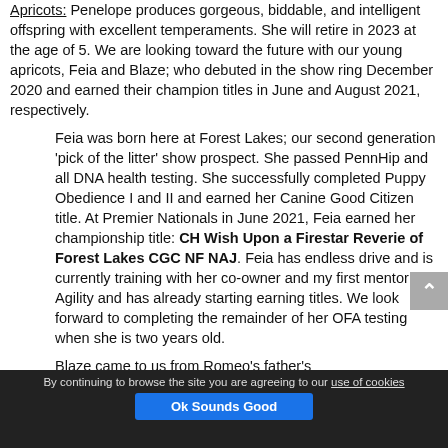Apricots: Penelope produces gorgeous, biddable, and intelligent offspring with excellent temperaments. She will retire in 2023 at the age of 5. We are looking toward the future with our young apricots, Feia and Blaze; who debuted in the show ring December 2020 and earned their champion titles in June and August 2021, respectively.
Feia was born here at Forest Lakes; our second generation 'pick of the litter' show prospect. She passed PennHip and all DNA health testing. She successfully completed Puppy Obedience I and II and earned her Canine Good Citizen title. At Premier Nationals in June 2021, Feia earned her championship title: CH Wish Upon a Firestar Reverie of Forest Lakes CGC NF NAJ. Feia has endless drive and is currently training with her co-owner and my first mentor for Agility and has already starting earning titles. We look forward to completing the remainder of her OFA testing when she is two years old.
Blaze came to us from Romeo's father's
By continuing to browse the site you are agreeing to our use of cookies  Ok Sounds Good